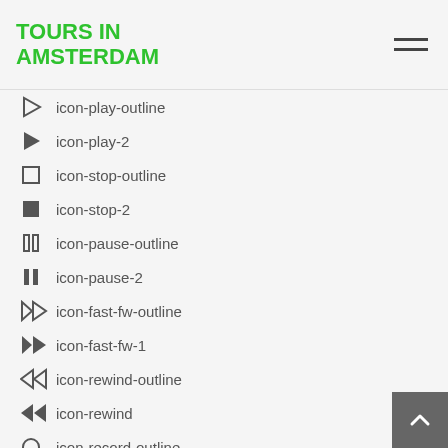TOURS IN AMSTERDAM
icon-play-outline
icon-play-2
icon-stop-outline
icon-stop-2
icon-pause-outline
icon-pause-2
icon-fast-fw-outline
icon-fast-fw-1
icon-rewind-outline
icon-rewind
icon-record-outline
icon-record-1
icon-eject-outline
icon-eject-1